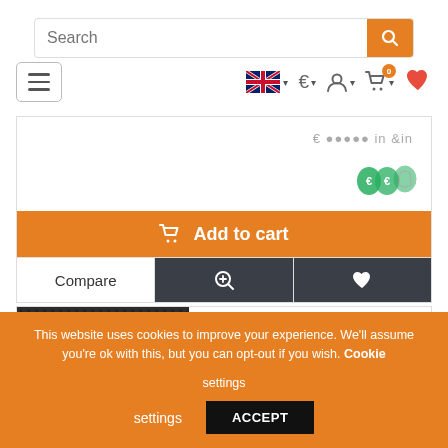[Figure (screenshot): E-commerce website screenshot showing search bar, navigation icons (hamburger menu, UK flag language selector, euro currency, user account, shopping cart with 0 badge, heart/wishlist), a product card with 'Add to cart' orange button, Compare/zoom/heart action buttons, a second product card with 38% discount badge showing 'INTER-M IX8 PORTABLE SPEAKER 2 WAY 125W/8Ω', and a cookie consent banner at bottom.]
This website uses cookies to improve your experience. We'll assume you're ok with this, but you can opt-out if you wish. Cookie settings
ACCEPT